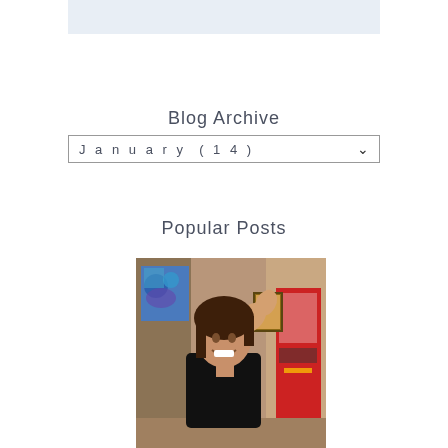[Figure (other): Light blue/grey banner rectangle at top of page]
Blog Archive
January (14)
Popular Posts
[Figure (photo): Young woman smiling and flexing her arm, wearing a black shirt, standing in front of a colorful painting and a red vending machine in the background]